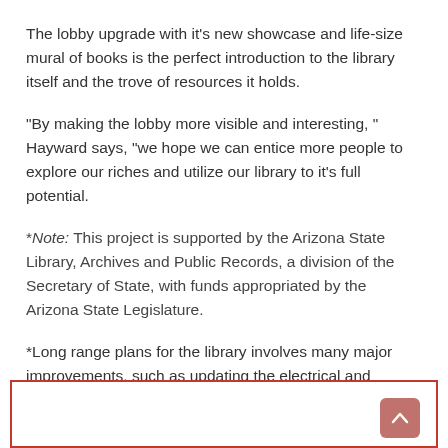The lobby upgrade with it's new showcase and life-size mural of books is the perfect introduction to the library itself and the trove of resources it holds.
“By making the lobby more visible and interesting, ” Hayward says, “we hope we can entice more people to explore our riches and utilize our library to it’s full potential.
*Note: This project is supported by the Arizona State Library, Archives and Public Records, a division of the Secretary of State, with funds appropriated by the Arizona State Legislature.
*Long range plans for the library involves many major improvements, such as updating the electrical and heating/cooling, however such improvements are not financially possible at this time.
[Figure (other): Red-bordered box at the bottom of the page with a scroll-to-top button in the bottom right corner.]